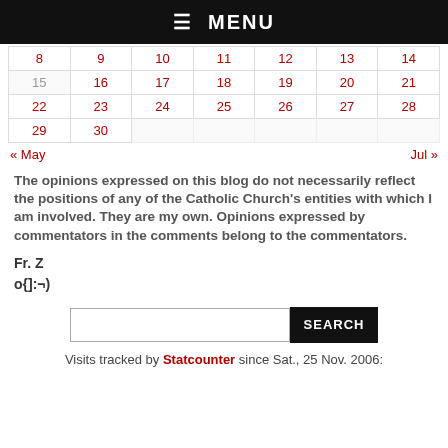☰ MENU
|  |  |  |  |  |  |  |
| --- | --- | --- | --- | --- | --- | --- |
| 8 | 9 | 10 | 11 | 12 | 13 | 14 |
| 15 | 16 | 17 | 18 | 19 | 20 | 21 |
| 22 | 23 | 24 | 25 | 26 | 27 | 28 |
| 29 | 30 |  |  |  |  |  |
« May    Jul »
The opinions expressed on this blog do not necessarily reflect the positions of any of the Catholic Church's entities with which I am involved. They are my own. Opinions expressed by commentators in the comments belong to the commentators.
Fr. Z
o{]:¬)
SEARCH
Visits tracked by Statcounter since Sat., 25 Nov. 2006: